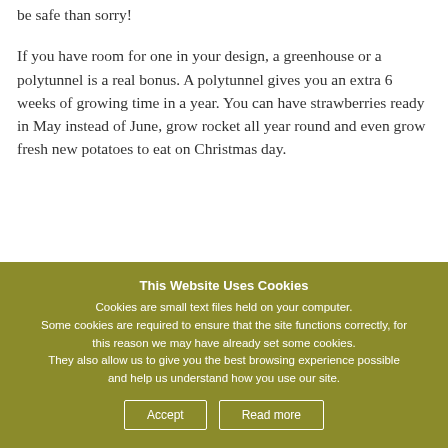be safe than sorry!
If you have room for one in your design, a greenhouse or a polytunnel is a real bonus. A polytunnel gives you an extra 6 weeks of growing time in a year. You can have strawberries ready in May instead of June, grow rocket all year round and even grow fresh new potatoes to eat on Christmas day.
This Website Uses Cookies
Cookies are small text files held on your computer. Some cookies are required to ensure that the site functions correctly, for this reason we may have already set some cookies. They also allow us to give you the best browsing experience possible and help us understand how you use our site.
Accept  Read more